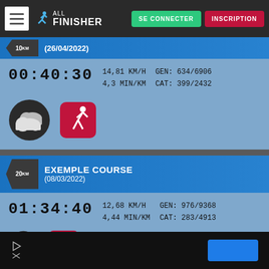ALL FINISHER — SE CONNECTER | INSCRIPTION
10km (26/04/2022)
00:40:30 — 14,81 KM/H — 4,3 MIN/KM — GEN: 634/6906 — CAT: 399/2432
[Figure (illustration): Cloudy weather icon (dark circle with cloud shapes) and a running figure icon on a red rounded-square background]
EXEMPLE COURSE 20km (08/03/2022)
01:34:40 — 12,68 KM/H — 4,44 MIN/KM — GEN: 976/9368 — CAT: 283/4913
[Figure (illustration): Sunny/gear weather icon and a runner icon on a red background (partially visible)]
Advertisement banner